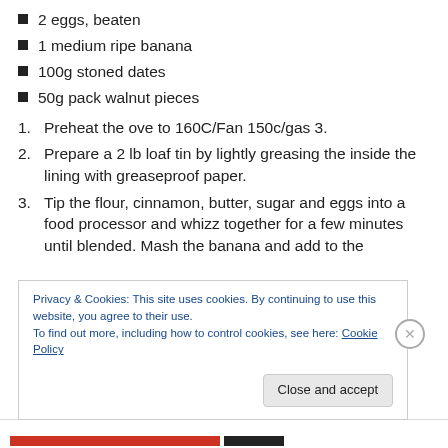2 eggs, beaten
1 medium ripe banana
100g stoned dates
50g pack walnut pieces
1. Preheat the ove to 160C/Fan 150c/gas 3.
2. Prepare a 2 lb loaf tin by lightly greasing the inside the lining with greaseproof paper.
3. Tip the flour, cinnamon, butter, sugar and eggs into a food processor and whizz together for a few minutes until blended. Mash the banana and add to the
Privacy & Cookies: This site uses cookies. By continuing to use this website, you agree to their use.
To find out more, including how to control cookies, see here: Cookie Policy
Close and accept